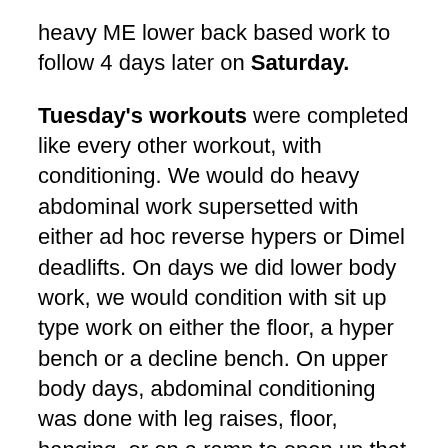heavy ME lower back based work to follow 4 days later on Saturday.
Tuesday's workouts were completed like every other workout, with conditioning. We would do heavy abdominal work supersetted with either ad hoc reverse hypers or Dimel deadlifts. On days we did lower body work, we would condition with sit up type work on either the floor, a hyper bench or a decline bench. On upper body days, abdominal conditioning was done with leg raises, floor, hanging, or on a ramp to open up that lower back for the posterior chain work to follow in the workout to follow the upper session. The gym did not have a reverse hyper, we cut a leather weight belt so that you could slide 25lb Olympic plates on to the belt and do the